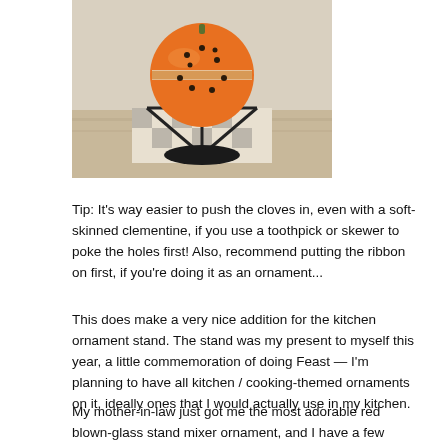[Figure (photo): A clementine/orange with cloves pressed into it, sitting on a metal ornament stand on a wooden surface. The orange fruit has a decorative band around its middle.]
Tip: It's way easier to push the cloves in, even with a soft-skinned clementine, if you use a toothpick or skewer to poke the holes first! Also, recommend putting the ribbon on first, if you're doing it as an ornament...
This does make a very nice addition for the kitchen ornament stand. The stand was my present to myself this year, a little commemoration of doing Feast — I'm planning to have all kitchen / cooking-themed ornaments on it, ideally ones that I would actually use in my kitchen.
My mother-in-law just got me the most adorable red blown-glass stand mixer ornament, and I have a few